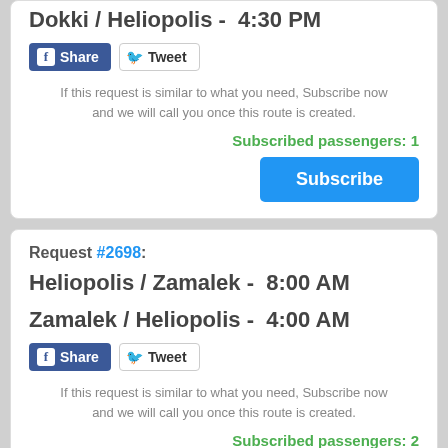Dokki / Heliopolis -  4:30 PM
If this request is similar to what you need, Subscribe now and we will call you once this route is created.
Subscribed passengers: 1
Subscribe
Request #2698:
Heliopolis / Zamalek -  8:00 AM
Zamalek / Heliopolis -  4:00 AM
If this request is similar to what you need, Subscribe now and we will call you once this route is created.
Subscribed passengers: 2